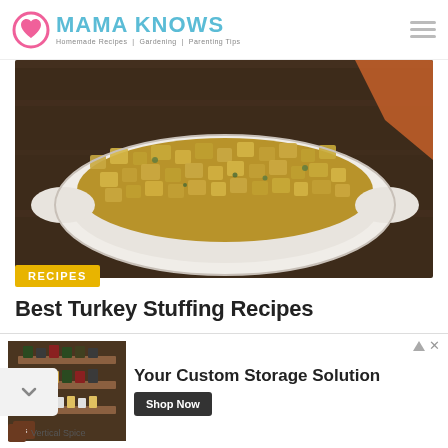MAMA KNOWS — Homemade Recipes | Gardening | Parenting Tips
[Figure (photo): Overhead photo of turkey stuffing in a white oval baking dish, on a dark wood table with an orange napkin in the background]
RECIPES
Best Turkey Stuffing Recipes
NOVEMBER 8, 2017 / BY HANNA TRAFFORD
[Figure (photo): Photo of an elegantly set dinner table with wine glasses, floral centerpieces, and place settings]
Your Custom Storage Solution
Vertical Spice
Shop Now